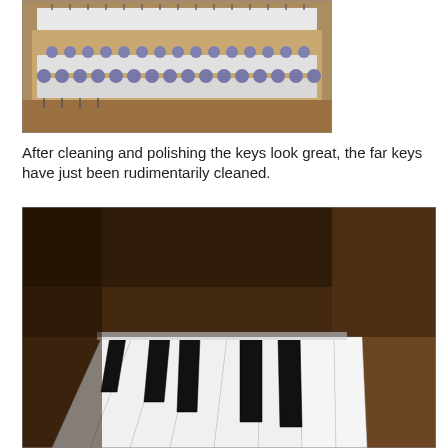[Figure (photo): Close-up photo of piano key mechanism parts removed from piano, showing grey felt-tipped key balance rail pins arranged in rows on a wooden rail.]
After cleaning and polishing the keys look great, the far keys have just been rudimentarily cleaned.
[Figure (photo): Photo of piano keyboard showing cleaned and polished white and black keys at an angle, with wooden piano interior visible.]